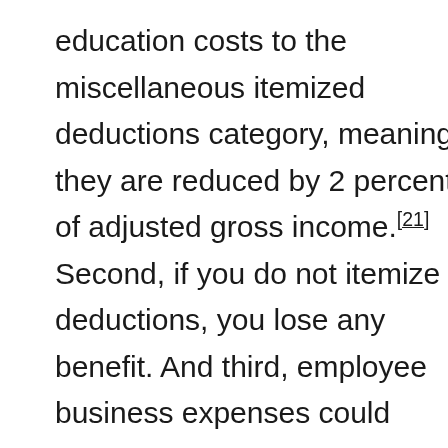education costs to the miscellaneous itemized deductions category, meaning they are reduced by 2 percent of adjusted gross income.[21] Second, if you do not itemize deductions, you lose any benefit. And third, employee business expenses could trigger the alternative minimum